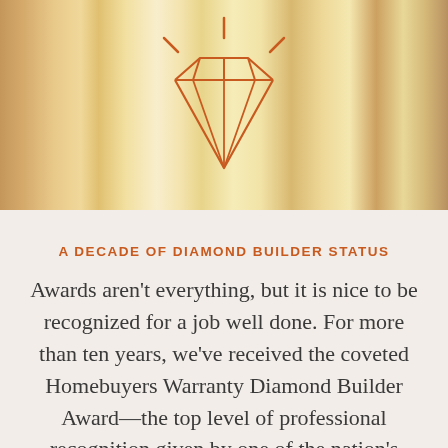[Figure (photo): Wooden framing lumber in the background with an orange line-art diamond/gem icon and shine rays in the center foreground]
A DECADE OF DIAMOND BUILDER STATUS
Awards aren't everything, but it is nice to be recognized for a job well done. For more than ten years, we've received the coveted Homebuyers Warranty Diamond Builder Award—the top level of professional recognition given by one of the nation's